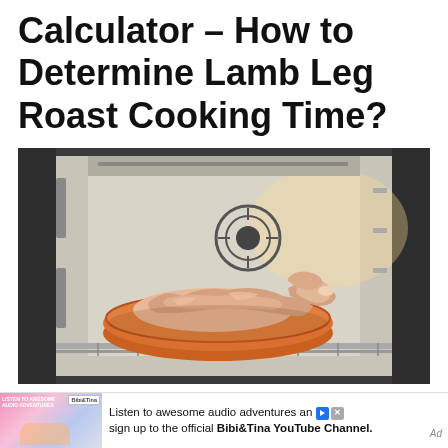Calculator – How to Determine Lamb Leg Roast Cooking Time?
[Figure (photo): A raw lamb leg in a round terracotta/orange roasting dish inside an open oven with stainless steel interior and oven rack pulled out.]
Listen to awesome audio adventures and sign up to the official Bibi&Tina YouTube Channel. Ad